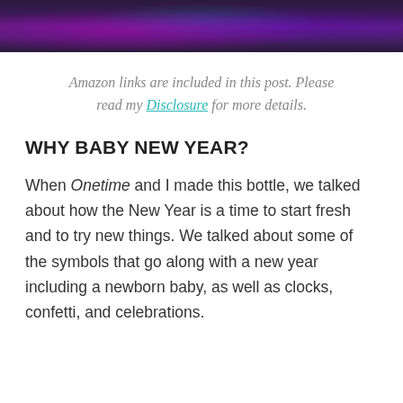[Figure (photo): Banner image with purple and dark bokeh lights background, partial text visible at top]
Amazon links are included in this post. Please read my Disclosure for more details.
WHY BABY NEW YEAR?
When Onetime and I made this bottle, we talked about how the New Year is a time to start fresh and to try new things. We talked about some of the symbols that go along with a new year including a newborn baby, as well as clocks, confetti, and celebrations.